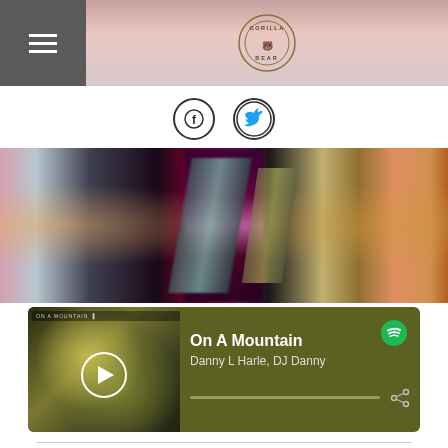Gorilla Bear (logo) with hamburger menu
[Figure (screenshot): Social sharing icons: Facebook (f) and Twitter bird, circular outlined icons]
[Figure (photo): Blurred action racing/sci-fi banner image with colorful lights and motion blur effect]
[Figure (screenshot): Spotify player widget with album art, play button, song title 'On A Mountain', artist 'Danny L Harle, DJ Danny', progress bar, Spotify logo, and share icon]
WOLF ALICE | The Last Man on Earth